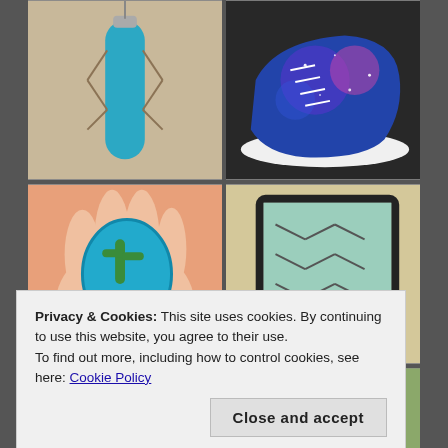[Figure (photo): Teal/blue water bottle with macrame rope holder on burlap background]
[Figure (photo): Galaxy-painted blue sneaker with white sole on dark textured background]
[Figure (photo): Hand holding a small embroidered crochet cactus patch with watermelon design]
[Figure (photo): Close-up of teal/mint stitching or smocking on fabric displayed on a tablet screen]
[Figure (photo): Partial bottom-left photo, teal/turquoise colored item]
[Figure (photo): Partial bottom-right photo, woven basket with greenery]
Privacy & Cookies: This site uses cookies. By continuing to use this website, you agree to their use.
To find out more, including how to control cookies, see here: Cookie Policy
Close and accept